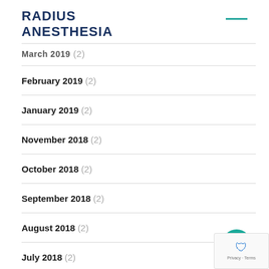RADIUS ANESTHESIA
March 2019 (2)
February 2019 (2)
January 2019 (2)
November 2018 (2)
October 2018 (2)
September 2018 (2)
August 2018 (2)
July 2018 (2)